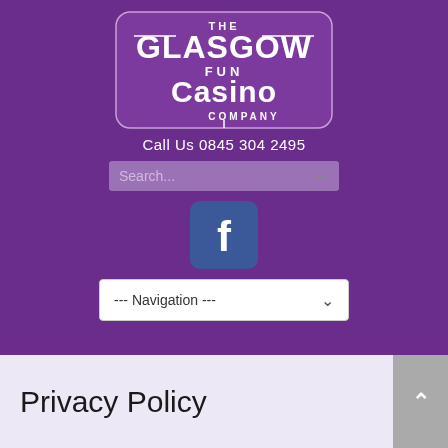[Figure (logo): The Glasgow Fun Casino Company logo — white text on purple rounded rectangle background]
Call Us 0845 304 2495
[Figure (screenshot): Search bar with placeholder text 'Search...' and right arrow on purple background]
[Figure (logo): Facebook icon — white 'f' on blue rounded square background]
[Figure (screenshot): Navigation dropdown selector with text '--- Navigation ---' and down chevron]
Privacy Policy